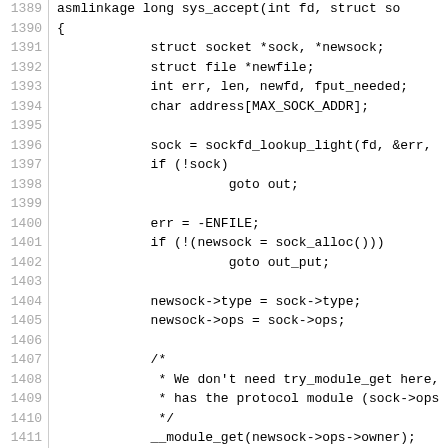[Figure (other): Source code listing (C kernel code) with line numbers 1389-1418, showing the sys_accept function implementation]